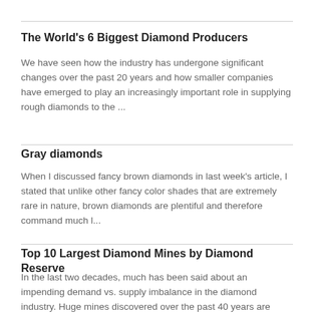The World's 6 Biggest Diamond Producers
We have seen how the industry has undergone significant changes over the past 20 years and how smaller companies have emerged to play an increasingly important role in supplying rough diamonds to the ...
Gray diamonds
When I discussed fancy brown diamonds in last week's article, I stated that unlike other fancy color shades that are extremely rare in nature, brown diamonds are plentiful and therefore command much l...
Top 10 Largest Diamond Mines by Diamond Reserve
In the last two decades, much has been said about an impending demand vs. supply imbalance in the diamond industry. Huge mines discovered over the past 40 years are nearly mined out, some argue, and n...